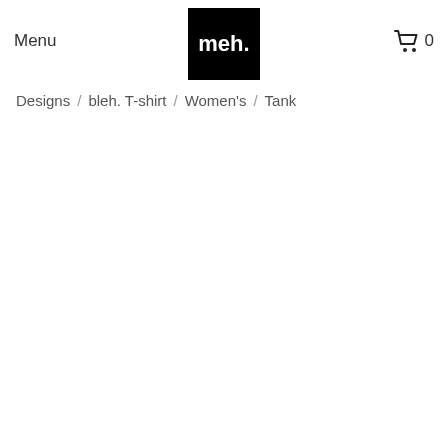Menu  meh.  0
Designs / bleh. T-shirt / Women's / Tank